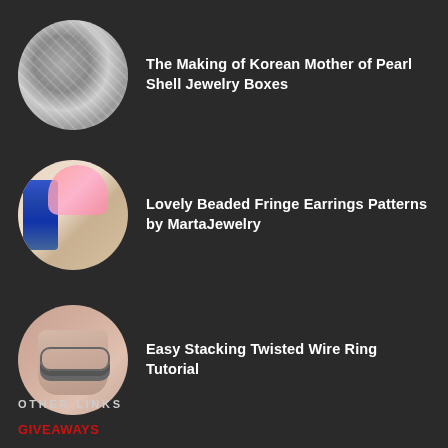The Making of Korean Mother of Pearl Shell Jewelry Boxes
[Figure (photo): Circular photo of mother of pearl shell pieces arranged in a tray, jewelry making process]
Lovely Beaded Fringe Earrings Patterns by MartaJewelry
[Figure (photo): Circular photo of colorful beaded fringe earring patterns with blue beads and pink floral fabric background]
Easy Stacking Twisted Wire Ring Tutorial
[Figure (photo): Circular photo of a hand wearing stacking twisted wire rings on a finger]
OTHER LINKS
GIVEAWAYS